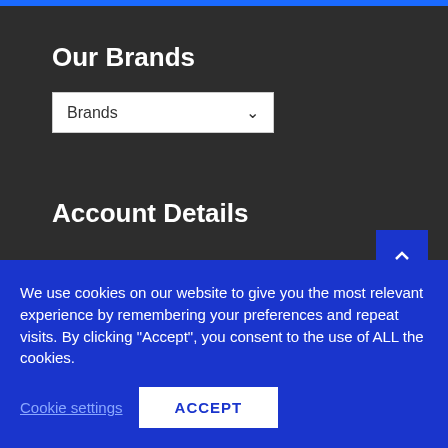Our Brands
[Figure (screenshot): Dropdown selector showing 'Brands' with a chevron arrow]
Account Details
Account details
Orders
Lost password
We use cookies on our website to give you the most relevant experience by remembering your preferences and repeat visits. By clicking "Accept", you consent to the use of ALL the cookies.
Cookie settings
ACCEPT